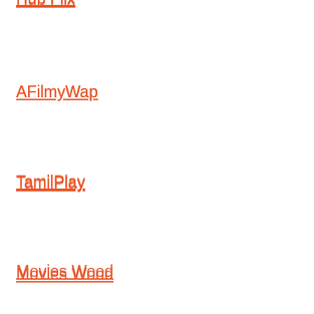Hub Flix
AFilmyWap
TamilPlay
Movies Wood
Vega Movies
Onion Play Movies
9X Buddy Movies
Filmywap